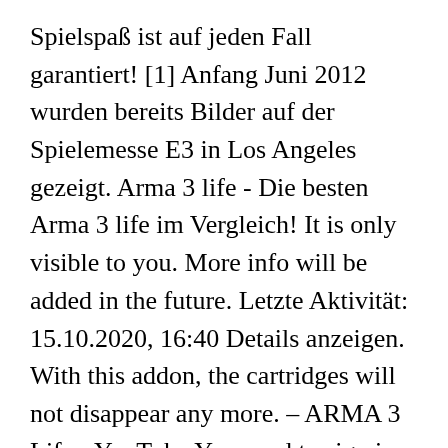Spielspaß ist auf jeden Fall garantiert! [1] Anfang Juni 2012 wurden bereits Bilder auf der Spielemesse E3 in Los Angeles gezeigt. Arma 3 life - Die besten Arma 3 life im Vergleich! It is only visible to you. More info will be added in the future. Letzte Aktivität: 15.10.2020, 16:40 Details anzeigen. With this addon, the cartridges will not disappear any more. – ARMA 3 Life - YouTube You need to sign in or create an account to do that. Altis Life Italia Reloaded è il più vecchio e stabile server di Altis Life in Italia! Unsere Datenschutzerklärung soll sowohl für die Öffentlichkeit als auch für unsere Kunden und Geschäftspartner einfach lesbar und verständlich sein. Umfrage zu e-Monkeys Altis Life Caesar Freitag, 14:00